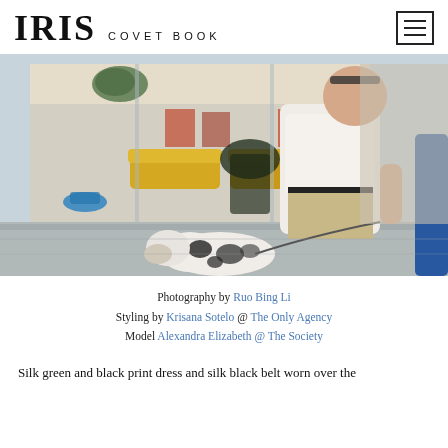IRIS COVET BOOK
[Figure (photo): Street photography scene: a man in a white t-shirt and khaki pants walks a spotted black-and-white dog past a large glass storefront reflecting yellow sofas and indoor plants; a person in blue is partially visible on the right.]
Photography by Ruo Bing Li
Styling by Krisana Sotelo @ The Only Agency
Model Alexandra Elizabeth @ The Society
Silk green and black print dress and silk black belt worn over the